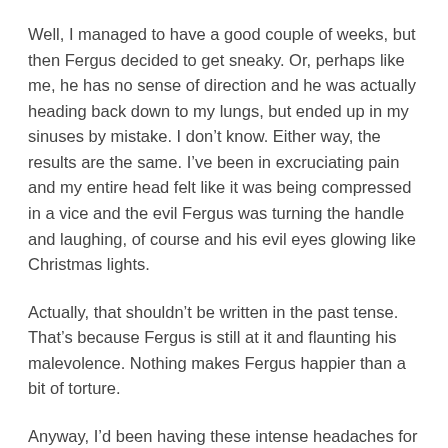Well, I managed to have a good couple of weeks, but then Fergus decided to get sneaky. Or, perhaps like me, he has no sense of direction and he was actually heading back down to my lungs, but ended up in my sinuses by mistake. I don't know. Either way, the results are the same. I've been in excruciating pain and my entire head felt like it was being compressed in a vice and the evil Fergus was turning the handle and laughing, of course and his evil eyes glowing like Christmas lights.
Actually, that shouldn't be written in the past tense. That's because Fergus is still at it and flaunting his malevolence. Nothing makes Fergus happier than a bit of torture.
Anyway, I'd been having these intense headaches for a few days, and wondering why my eyes were aching and was getting a bit concerned. Other than having Fergus is my sinuses, I have hydrocephalus and a shunt in my head and